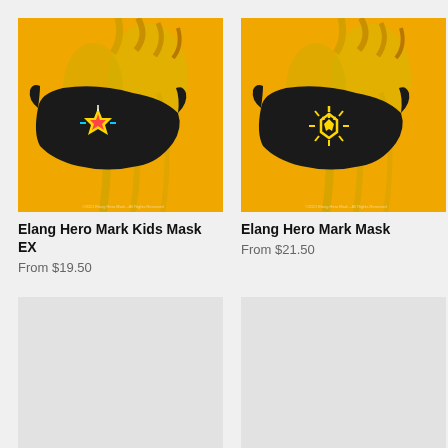[Figure (photo): Black face mask with colorful Elang Hero Mark Kids design on a yellow anime character background]
Elang Hero Mark Kids Mask EX
From $19.50
[Figure (photo): Black face mask with gold Elang Hero Mark design on a yellow anime character background]
Elang Hero Mark Mask
From $21.50
[Figure (photo): Loading placeholder image (light grey)]
[Figure (photo): Loading placeholder image (light grey)]